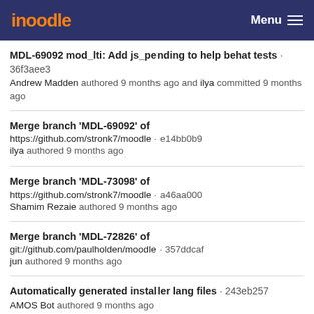moodle  Menu
MDL-69092 mod_lti: Add js_pending to help behat tests · 36f3aee3
Andrew Madden authored 9 months ago and ilya committed 9 months ago
Merge branch 'MDL-69092' of
https://github.com/stronk7/moodle · e14bb0b9
ilya authored 9 months ago
Merge branch 'MDL-73098' of
https://github.com/stronk7/moodle · a46aa000
Shamim Rezaie authored 9 months ago
Merge branch 'MDL-72826' of
git://github.com/paulholden/moodle · 357ddcaf
jun authored 9 months ago
Automatically generated installer lang files · 243eb257
AMOS Bot authored 9 months ago